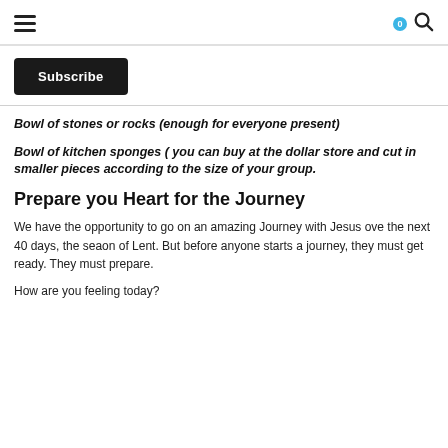Navigation header with hamburger menu, cart icon with badge 0, and search icon
Subscribe
Bowl of stones or rocks (enough for everyone present)
Bowl of kitchen sponges ( you can buy at the dollar store and cut in smaller pieces according to the size of your group.
Prepare you Heart for the Journey
We have the opportunity to go on an amazing Journey with Jesus ove the next 40 days, the seaon of Lent. But before anyone starts a journey, they must get ready. They must prepare.
How are you feeling today?